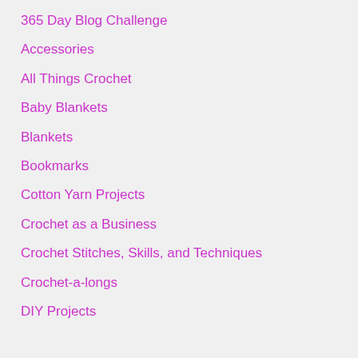365 Day Blog Challenge
Accessories
All Things Crochet
Baby Blankets
Blankets
Bookmarks
Cotton Yarn Projects
Crochet as a Business
Crochet Stitches, Skills, and Techniques
Crochet-a-longs
DIY Projects